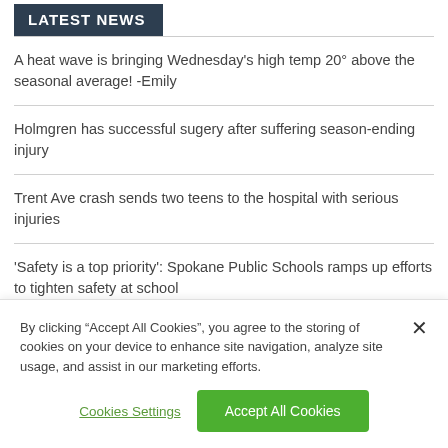LATEST NEWS
A heat wave is bringing Wednesday's high temp 20° above the seasonal average! -Emily
Holmgren has successful sugery after suffering season-ending injury
Trent Ave crash sends two teens to the hospital with serious injuries
'Safety is a top priority': Spokane Public Schools ramps up efforts to tighten safety at school
By clicking “Accept All Cookies”, you agree to the storing of cookies on your device to enhance site navigation, analyze site usage, and assist in our marketing efforts.
Cookies Settings | Accept All Cookies